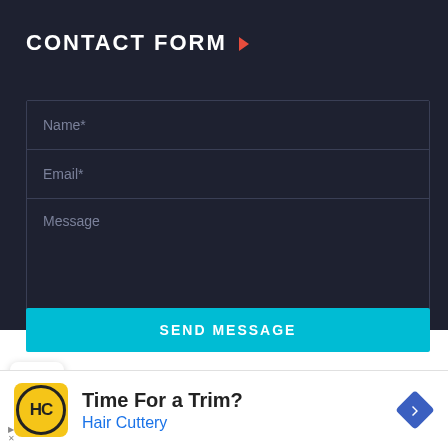CONTACT FORM
[Figure (screenshot): Contact form with Name*, Email*, and Message fields on a dark background, with a cyan SEND MESSAGE button]
Time For a Trim?
Hair Cuttery